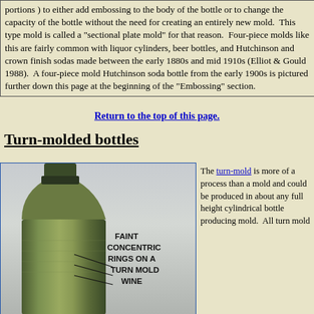portions ) to either add embossing to the body of the bottle or to change the capacity of the bottle without the need for creating an entirely new mold. This type mold is called a "sectional plate mold" for that reason. Four-piece molds like this are fairly common with liquor cylinders, beer bottles, and Hutchinson and crown finish sodas made between the early 1880s and mid 1910s (Elliot & Gould 1988). A four-piece mold Hutchinson soda bottle from the early 1900s is pictured further down this page at the beginning of the "Embossing" section.
Return to the top of this page.
Turn-molded bottles
[Figure (photo): Close-up photo of the neck of a green glass turn-mold wine bottle showing faint concentric rings. Text annotation on the photo reads: FAINT CONCENTRIC RINGS ON A TURN MOLD WINE]
The turn-mold is more of a process than a mold and could be produced in about any full height cylindrical bottle producing mold. All turn mold